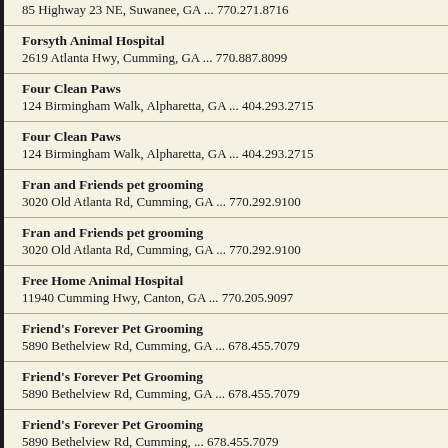85 Highway 23 NE, Suwanee, GA ... 770.271.8716
Forsyth Animal Hospital
2619 Atlanta Hwy, Cumming, GA ... 770.887.8099
Four Clean Paws
124 Birmingham Walk, Alpharetta, GA ... 404.293.2715
Four Clean Paws
124 Birmingham Walk, Alpharetta, GA ... 404.293.2715
Fran and Friends pet grooming
3020 Old Atlanta Rd, Cumming, GA ... 770.292.9100
Fran and Friends pet grooming
3020 Old Atlanta Rd, Cumming, GA ... 770.292.9100
Free Home Animal Hospital
11940 Cumming Hwy, Canton, GA ... 770.205.9097
Friend's Forever Pet Grooming
5890 Bethelview Rd, Cumming, GA ... 678.455.7079
Friend's Forever Pet Grooming
5890 Bethelview Rd, Cumming, GA ... 678.455.7079
Friend's Forever Pet Grooming
5890 Bethelview Rd, Cumming, ... 678.455.7079